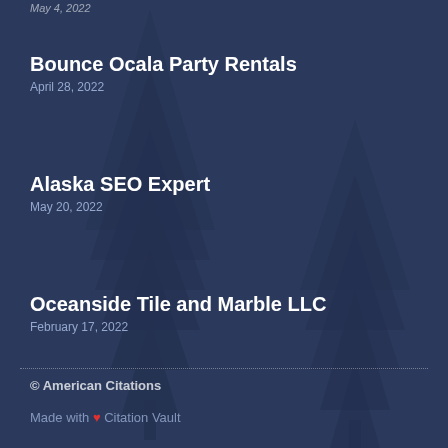May 4, 2022
Bounce Ocala Party Rentals
April 28, 2022
Alaska SEO Expert
May 20, 2022
Oceanside Tile and Marble LLC
February 17, 2022
© American Citations
Made with ❤ Citation Vault